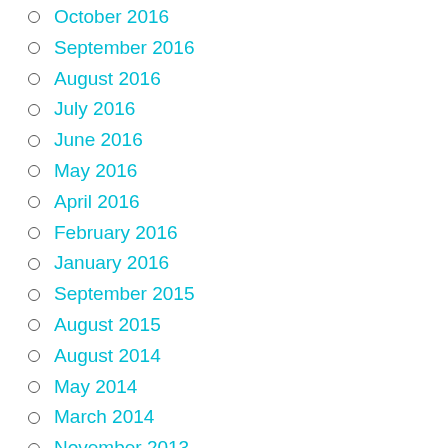October 2016
September 2016
August 2016
July 2016
June 2016
May 2016
April 2016
February 2016
January 2016
September 2015
August 2015
August 2014
May 2014
March 2014
November 2013
October 2013